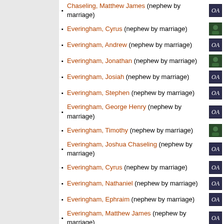Chaseling, Matthew James (nephew by marriage)
Everingham, Cyrus (nephew by marriage)
Everingham, Andrew (nephew by marriage)
Everingham, Jonathan (nephew by marriage)
Everingham, Josiah (nephew by marriage)
Everingham, Stephen (nephew by marriage)
Everingham, George Henry (nephew by marriage)
Everingham, Timothy (nephew by marriage)
Everingham, Joshua Chaseling (nephew by marriage)
Everingham, Cyrus (nephew by marriage)
Everingham, Nathaniel (nephew by marriage)
Everingham, Ephraim (nephew by marriage)
Everingham, Matthew James (nephew by marriage)
Everingham, George Richard (nephew by marriage)
Everingham, Arthur Thomas (nephew by marriage)